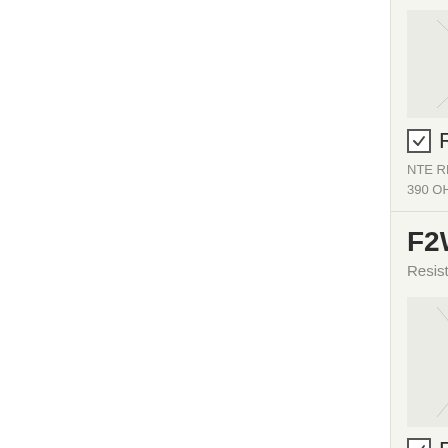[Figure (photo): Resistor component image, partial view at top of page]
RoHS Compl...
NTE RESISTOR, FUSIB... 390 OHM 5% [...]
F2W156
Resistors
[Figure (photo): Resistor component image in product listing]
RoHS Compl...
NTE RESISTOR, FUSIB... 560 OHM 5% [...]
F2W1D1
Resistors
[Figure (photo): Resistor component image at bottom of page]